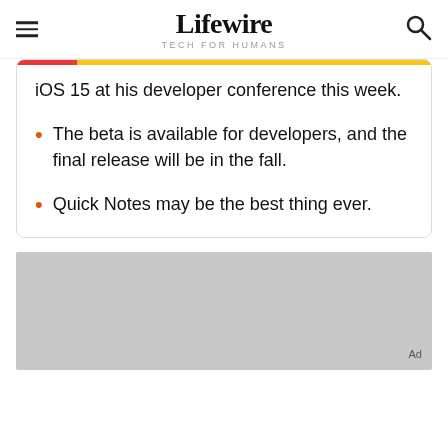Lifewire TECH FOR HUMANS
iOS 15 at his developer conference this week.
The beta is available for developers, and the final release will be in the fall.
Quick Notes may be the best thing ever.
[Figure (other): Grey advertisement placeholder block with 'Ad' label in bottom right corner]